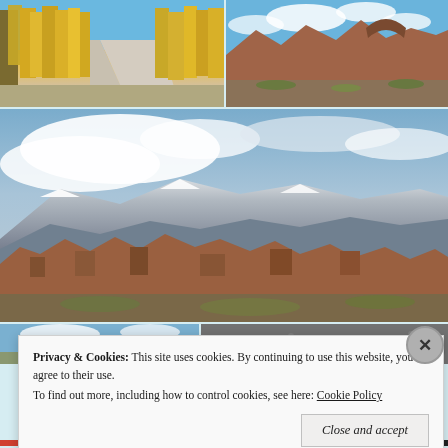[Figure (photo): Autumn forest road with yellow aspen trees lining a dirt path, blue sky above]
[Figure (photo): Red rock arch formation against blue sky with clouds, desert shrubs in foreground]
[Figure (photo): Wide panoramic view of red rock formations (Arches National Park area) with snow-capped La Sal Mountains in background under dramatic cloudy sky]
[Figure (photo): Partial view of blue sky and landscape, bottom of page]
[Figure (photo): Partial view of dark gravel or rock surface, bottom right]
Privacy & Cookies:  This site uses cookies. By continuing to use this website, you agree to their use.
To find out more, including how to control cookies, see here: Cookie Policy
Close and accept